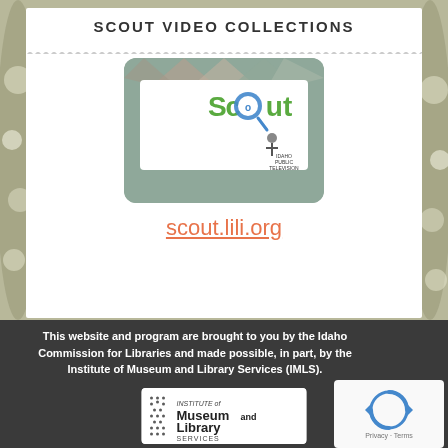SCOUT VIDEO COLLECTIONS
[Figure (logo): Scout logo with magnifying glass and Idaho Public Television branding on a grey-green rounded card background]
scout.lili.org
This website and program are brought to you by the Idaho Commission for Libraries and made possible, in part, by the Institute of Museum and Library Services (IMLS).
[Figure (logo): Institute of Museum and Library Services (IMLS) logo]